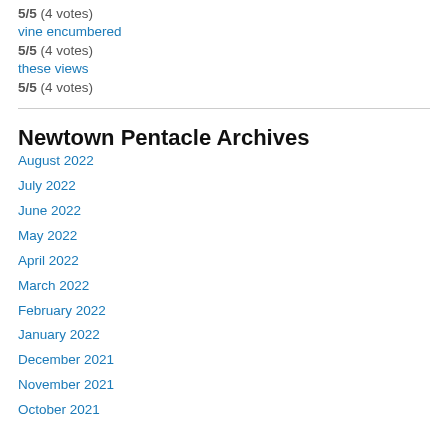5/5 (4 votes)
vine encumbered
5/5 (4 votes)
these views
5/5 (4 votes)
Newtown Pentacle Archives
August 2022
July 2022
June 2022
May 2022
April 2022
March 2022
February 2022
January 2022
December 2021
November 2021
October 2021